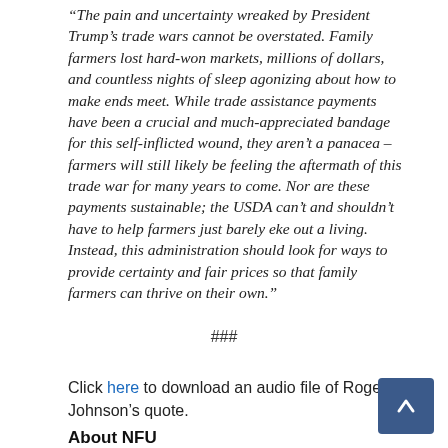“The pain and uncertainty wreaked by President Trump’s trade wars cannot be overstated. Family farmers lost hard-won markets, millions of dollars, and countless nights of sleep agonizing about how to make ends meet. While trade assistance payments have been a crucial and much-appreciated bandage for this self-inflicted wound, they aren’t a panacea – farmers will still likely be feeling the aftermath of this trade war for many years to come. Nor are these payments sustainable; the USDA can’t and shouldn’t have to help farmers just barely eke out a living. Instead, this administration should look for ways to provide certainty and fair prices so that family farmers can thrive on their own.”
###
Click here to download an audio file of Roger Johnson’s quote.
About NFU